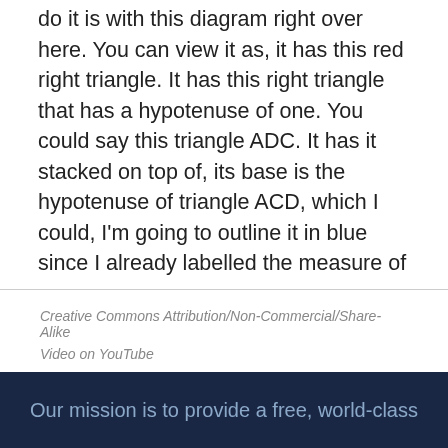do it is with this diagram right over here. You can view it as, it has this red right triangle. It has this right triangle that has a hypotenuse of one. You could say this triangle ADC. It has it stacked on top of, its base is the hypotenuse of triangle ACD, which I could, I'm going to outline it in blue since I already labelled the measure of
Creative Commons Attribution/Non-Commercial/Share-Alike
Video on YouTube
Up Next
Proof of the cosine angle addition identity
Our mission is to provide a free, world-class